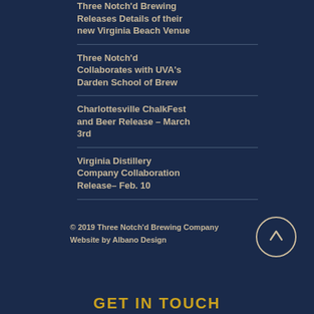Three Notch'd Brewing Releases Details of their new Virginia Beach Venue
Three Notch'd Collaborates with UVA's Darden School of Brew
Charlottesville ChalkFest and Beer Release – March 3rd
Virginia Distillery Company Collaboration Release– Feb. 10
© 2019 Three Notch'd Brewing Company
Website by Albano Design
GET IN TOUCH